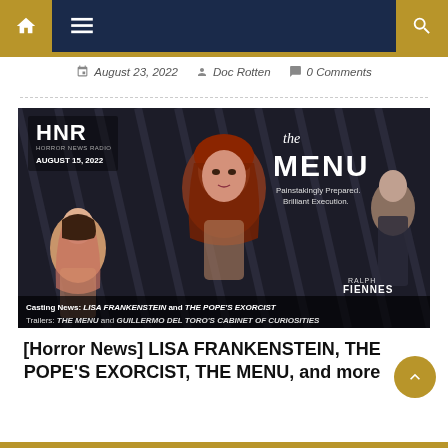Horror News Radio navigation bar
August 23, 2022   Doc Rotten   0 Comments
[Figure (photo): Horror News Radio podcast banner dated August 15, 2022. Features a woman with red hair in the center foreground, a woman in vintage dress on the lower left, Ralph Fiennes on the right, and text overlays including 'the MENU', 'Painstakingly Prepared. Brilliant Execution.', HNR logo, 'Casting News: LISA FRANKENSTEIN and THE POPE'S EXORCIST', 'Trailers: THE MENU and GUILLERMO DEL TORO'S CABINET OF CURIOSITIES']
[Horror News] LISA FRANKENSTEIN, THE POPE'S EXORCIST, THE MENU, and more